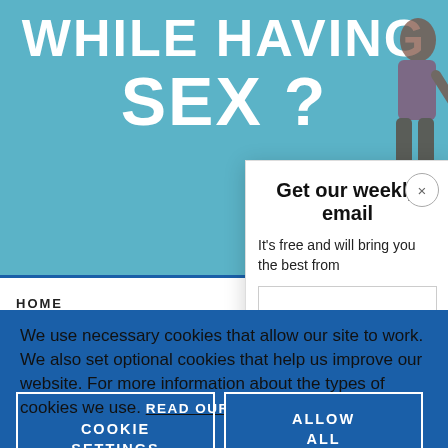[Figure (screenshot): Background image of a blue painted wall with bold white text reading 'WHILE HAVING SEX ?' with a person visible on the right side]
HOME
Get our weekly email
It's free and will bring you the best from
We use necessary cookies that allow our site to work. We also set optional cookies that help us improve our website. For more information about the types of cookies we use. READ OUR COOKIES POLICY HERE
COOKIE SETTINGS
ALLOW ALL COOKIES
data.